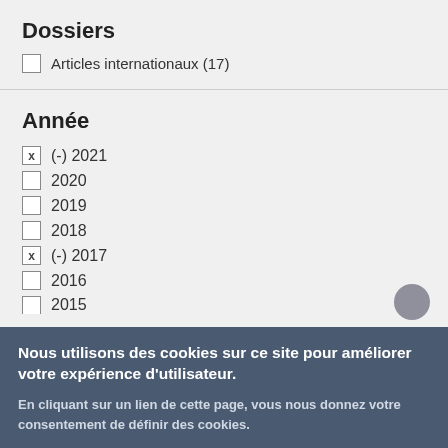Dossiers
□ Articles internationaux (17)
Année
x (-) 2021
□ 2020
□ 2019
□ 2018
x (-) 2017
□ 2016
□ 2015
Nous utilisons des cookies sur ce site pour améliorer votre expérience d'utilisateur.
En cliquant sur un lien de cette page, vous nous donnez votre consentement de définir des cookies.